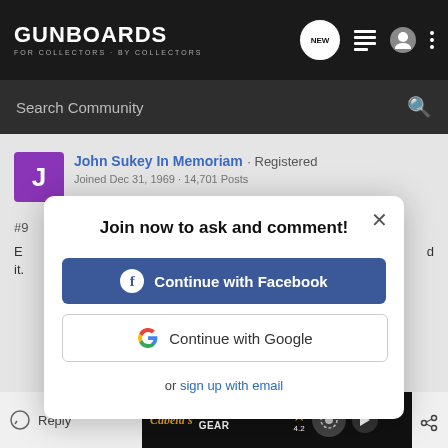GUNBOARDS FOR COLLECTORS · BY COLLECTORS
Search Community
John Sukey In Memoriam · Registered
Join now to ask and comment!
Continue with Facebook
Continue with Google
or sign up with email
Reply   Cabela's HIGHEST-RATED GEAR 4.2